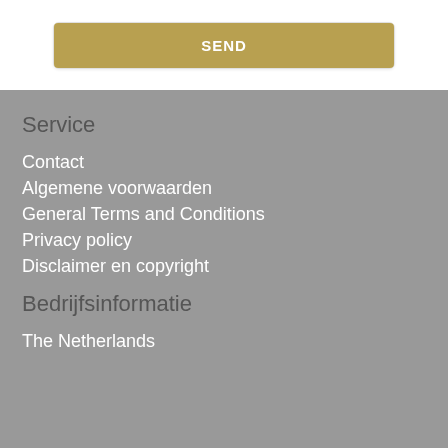[Figure (other): A golden/tan colored button with bold white text 'SEND' inside a white card with border, at the top of the page]
Service
Contact
Algemene voorwaarden
General Terms and Conditions
Privacy policy
Disclaimer en copyright
Bedrijfsinformatie
The Netherlands